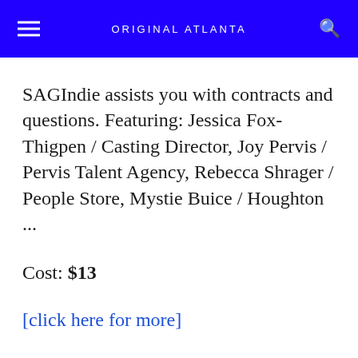ORIGINAL ATLANTA
SAGIndie assists you with contracts and questions. Featuring: Jessica Fox-Thigpen / Casting Director, Joy Pervis / Pervis Talent Agency, Rebecca Shrager / People Store, Mystie Buice / Houghton ...
Cost: $13
[click here for more]